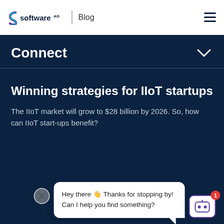software AG Blog
Connect
Winning strategies for IIoT startups
The IIoT market will grow to $28 billion by 2026. So, how can IIoT start-ups benefit?
[Figure (screenshot): Chat widget popup with message: Hey there 👋 Thanks for stopping by! Can I help you find something? with a bot icon and close button.]